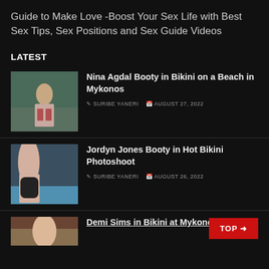Guide to Make Love -Boost Your Sex Life with Best Sex Tips, Sex Positions and Sex Guide Videos
LATEST
[Figure (photo): Thumbnail photo of Nina Agdal in bikini on a beach]
Nina Agdal Booty in Bikini on a Beach in Mykonos
SURIBE YANERI  AUGUST 27, 2022
[Figure (photo): Thumbnail photo of Jordyn Jones in hot bikini photoshoot]
Jordyn Jones Booty in Hot Bikini Photoshoot
SURIBE YANERI  AUGUST 26, 2022
[Figure (photo): Thumbnail photo of Demi Sims in bikini at Mykonos (partially visible)]
Demi Sims in Bikini at Mykonos